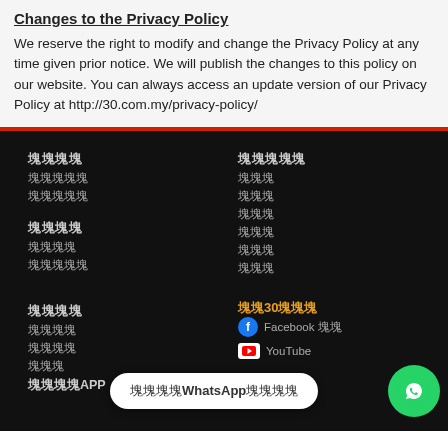Changes to the Privacy Policy
We reserve the right to modify and change the Privacy Policy at any time given prior notice. We will publish the changes to this policy on our website. You can always access an update version of our Privacy Policy at http://30.com.my/privacy-policy/
[Footer navigation columns with Chinese text links and social media icons]